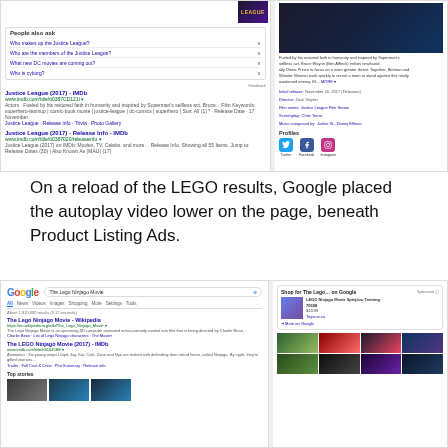[Figure (screenshot): Google search results page for Justice League showing People Also Ask box, IMDb results, and a knowledge panel with movie information, profiles section showing Twitter, Facebook, Instagram icons]
On a reload of the LEGO results, Google placed the autoplay video lower on the page, beneath Product Listing Ads.
[Figure (screenshot): Google search results page for 'The Lego Ninjago Movie' showing Wikipedia and IMDb results on the left, and a Shopping panel on the right with LEGO Ninjago Movie product and a video grid]